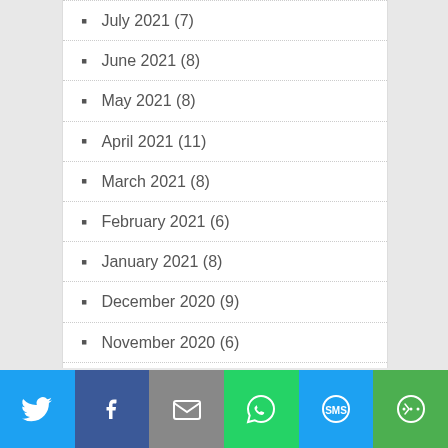July 2021 (7)
June 2021 (8)
May 2021 (8)
April 2021 (11)
March 2021 (8)
February 2021 (6)
January 2021 (8)
December 2020 (9)
November 2020 (6)
October 2020 (9)
September 2020 (6)
August 2020 (7)
Twitter | Facebook | Email | WhatsApp | SMS | More